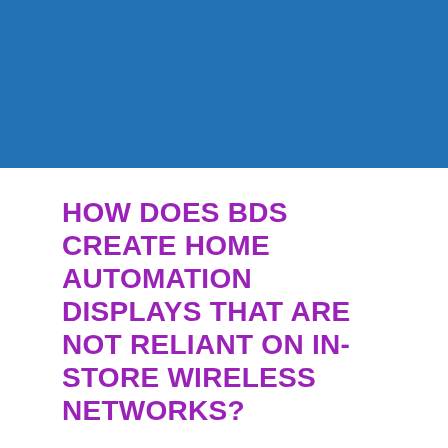[Figure (other): Solid blue rectangular banner filling the top portion of the page]
HOW DOES BDS CREATE HOME AUTOMATION DISPLAYS THAT ARE NOT RELIANT ON IN-STORE WIRELESS NETWORKS?
Home automation displays don't work when they have to rely on in-store wireless networks.